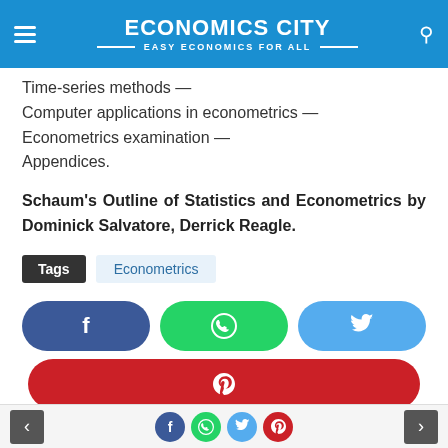ECONOMICS CITY — EASY ECONOMICS FOR ALL
Time-series methods —
Computer applications in econometrics —
Econometrics examination —
Appendices.
Schaum's Outline of Statistics and Econometrics by Dominick Salvatore, Derrick Reagle.
Tags  Econometrics
[Figure (infographic): Social share buttons: Facebook (dark blue pill), WhatsApp (green pill), Twitter (light blue pill), Pinterest (red wide pill)]
Navigation arrows and social icon row at bottom